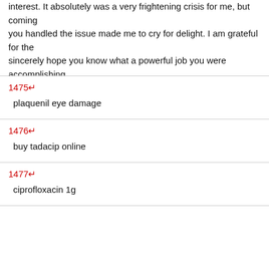interest. It absolutely was a very frightening crisis for me, but coming to you handled the issue made me to cry for delight. I am grateful for the sincerely hope you know what a powerful job you were accomplishing use of a site. Most likely you've never met all of us. kawhi leonard sho
1475↵
plaquenil eye damage
1476↵
buy tadacip online
1477↵
ciprofloxacin 1g